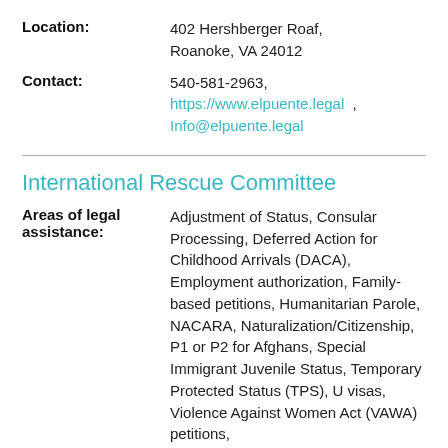Location: 402 Hershberger Roaf, Roanoke, VA 24012
Contact: 540-581-2963, https://www.elpuente.legal, Info@elpuente.legal
International Rescue Committee
Areas of legal assistance: Adjustment of Status, Consular Processing, Deferred Action for Childhood Arrivals (DACA), Employment authorization, Family-based petitions, Humanitarian Parole, NACARA, Naturalization/Citizenship, P1 or P2 for Afghans, Special Immigrant Juvenile Status, Temporary Protected Status (TPS), U visas, Violence Against Women Act (VAWA) petitions,